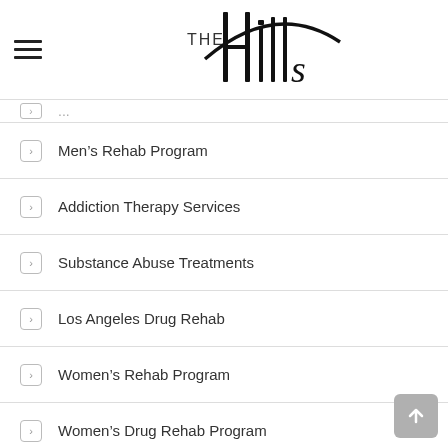[Figure (logo): The Hills logo with stylized vertical bars forming letters and a curved line]
Men’s Rehab Program
Addiction Therapy Services
Substance Abuse Treatments
Los Angeles Drug Rehab
Women’s Rehab Program
Women’s Drug Rehab Program
Men’s Drug Rehab Program